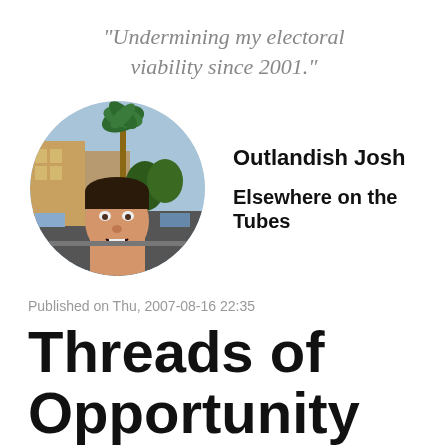"Undermining my electoral viability since 2001."
[Figure (photo): Circular profile photo of a young man outdoors on a city street with palm trees and colorful buildings in the background.]
Outlandish Josh
Elsewhere on the Tubes
Published on Thu, 2007-08-16 22:35
Threads of Opportunity